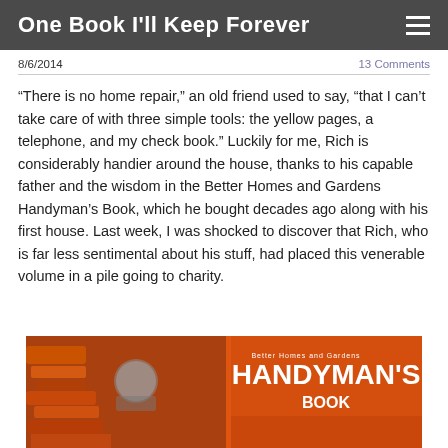One Book I'll Keep Forever
8/6/2014
13 Comments
“There is no home repair,” an old friend used to say, “that I can’t take care of with three simple tools: the yellow pages, a telephone, and my check book.” Luckily for me, Rich is considerably handier around the house, thanks to his capable father and the wisdom in the Better Homes and Gardens Handyman’s Book, which he bought decades ago along with his first house. Last week, I was shocked to discover that Rich, who is far less sentimental about his stuff, had placed this venerable volume in a pile going to charity.
[Figure (photo): Photo of tools including what appears to be orange/red tools and a jar, alongside a Better Homes and Gardens Handyman's Book with orange cover visible at the bottom of the page.]